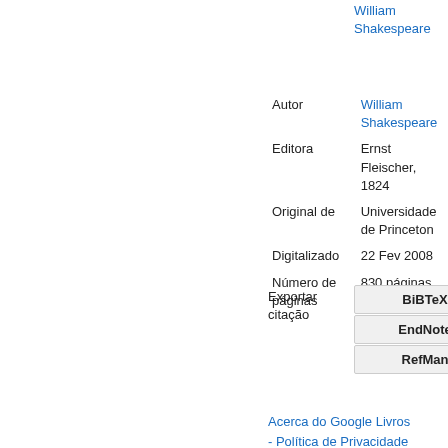William Shakespeare
| Autor | William Shakespeare |
| Editora | Ernst Fleischer, 1824 |
| Original de | Universidade de Princeton |
| Digitalizado | 22 Fev 2008 |
| Número de páginas | 830 páginas |
Exportar citação
BiBTeX
EndNote
RefMan
Acerca do Google Livros - Política de Privacidade